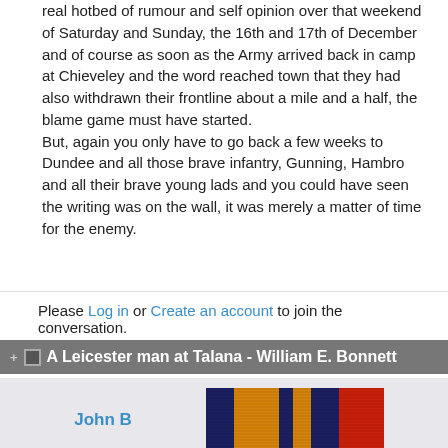real hotbed of rumour and self opinion over that weekend of Saturday and Sunday, the 16th and 17th of December and of course as soon as the Army arrived back in camp at Chieveley and the word reached town that they had also withdrawn their frontline about a mile and a half, the blame game must have started.
But, again you only have to go back a few weeks to Dundee and all those brave infantry, Gunning, Hambro and all their brave young lads and you could have seen the writing was on the wall, it was merely a matter of time for the enemy.
Please Log in or Create an account to join the conversation.
A Leicester man at Talana - William E. Bonnett
John B
[Figure (photo): A military campaign medal ribbon with horizontal stripes of red, dark blue, orange/yellow, dark blue and red colors.]